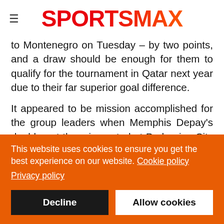SPORTSMAX
to Montenegro on Tuesday – by two points, and a draw should be enough for them to qualify for the tournament in Qatar next year due to their far superior goal difference.
It appeared to be mission accomplished for the group leaders when Memphis Depay's double put them in control at Podgorica City Stadium, but late goals from Ilija Vukotic and Nikola Vujnovic prevented them from getting the job done.
The Netherlands will not have the backing of a partisan crowd against Norway as the game in Rotterdam will be played behind...
This website uses cookies to ensure you get the best experience on our website. Cookie policy
Privacy policy
Decline | Allow cookies